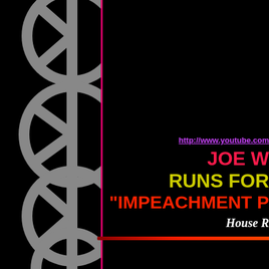[Figure (illustration): Decorative left column with overlapping peace sign / circle arc shapes in gray on black background, with a vertical magenta/pink dividing line.]
http://www.youtube.com
JOE W
RUNS FOR
"IMPEACHMENT P
House R